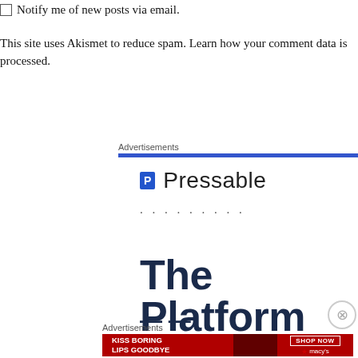Notify me of new posts via email.
This site uses Akismet to reduce spam. Learn how your comment data is processed.
Advertisements
[Figure (logo): Pressable logo with blue square icon containing letter P and the word Pressable]
Advertisements
[Figure (infographic): Macy's ad banner: KISS BORING LIPS GOODBYE with SHOP NOW button and macy's star logo]
The Platform